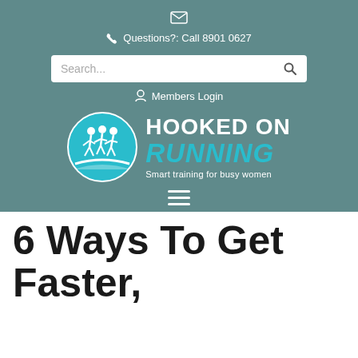✉
Questions?: Call 8901 0627
Search...
Members Login
[Figure (logo): Hooked On Running logo — circular teal badge with running figures, text 'HOOKED ON RUNNING', tagline 'Smart training for busy women']
6 Ways To Get Faster, without upping your